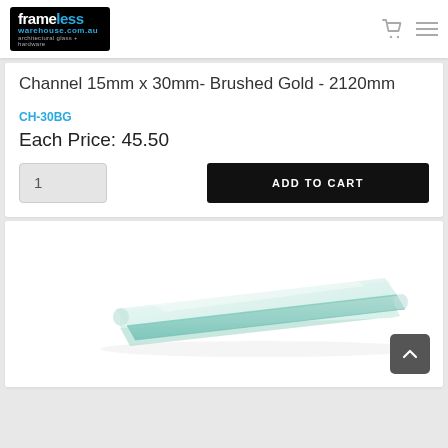frameless warehouse.com.au — architectural glass + hardware
Channel 15mm x 30mm- Brushed Gold - 2120mm
CH-30BG
Each Price: 45.50
1
ADD TO CART
[Figure (photo): Glass shelf product photo showing a rectangular tempered glass panel with polished rounded edges, viewed at an angle on a white background]